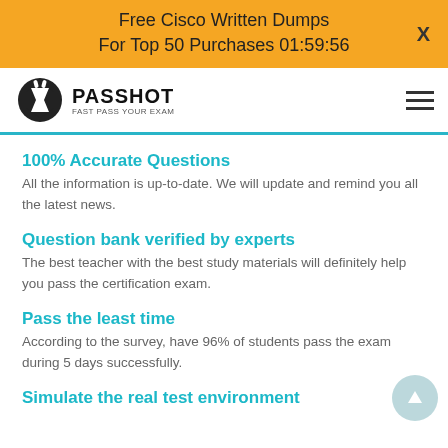Free Cisco Written Dumps For Top 50 Purchases 01:59:56
[Figure (logo): Passhot logo with text PASSHOT FAST PASS YOUR EXAM]
100% Accurate Questions
All the information is up-to-date. We will update and remind you all the latest news.
Question bank verified by experts
The best teacher with the best study materials will definitely help you pass the certification exam.
Pass the least time
According to the survey, have 96% of students pass the exam during 5 days successfully.
Simulate the real test environment